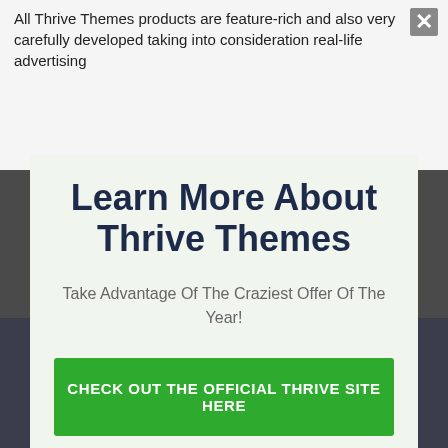All Thrive Themes products are feature-rich and also very carefully developed taking into consideration real-life advertising
[Figure (screenshot): Modal popup with close X button in top right corner, light green background]
Learn More About Thrive Themes
Take Advantage Of The Craziest Offer Of The Year!
CHECK OUT THE OFFICIAL THRIVE SITE HERE
No thanks, I'm not interested!
Discover All About Opacity Thrive Themes On This Site ->